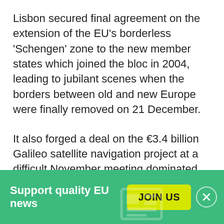Lisbon secured final agreement on the extension of the EU's borderless 'Schengen' zone to the new member states which joined the bloc in 2004, leading to jubilant scenes when the borders between old and new Europe were finally removed on 21 December.
It also forged a deal on the €3.4 billion Galileo satellite navigation project at a difficult November meeting dominated by a tough Spanish fight for hosting one of Galileo's ground control centres.
Other deals clinched under Portuguese chairmanship include postal liberalisation; an overhaul of EU-wide VAT rules; wine sector reform; a reduction of fisheries quotas;
[Figure (infographic): Green banner at the bottom with 'Support quality EU news' text in white bold, a yellow-green JOIN US button, and a circular close button with X]